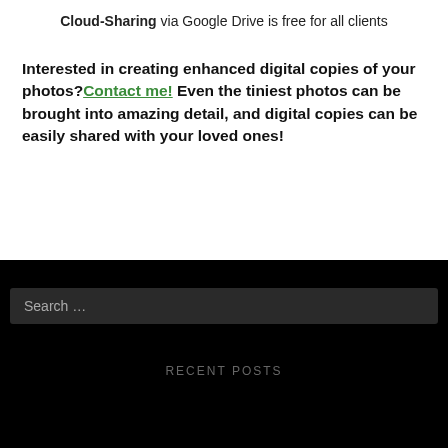Cloud-Sharing via Google Drive is free for all clients
Interested in creating enhanced digital copies of your photos? Contact me! Even the tiniest photos can be brought into amazing detail, and digital copies can be easily shared with your loved ones!
Search ...
RECENT POSTS